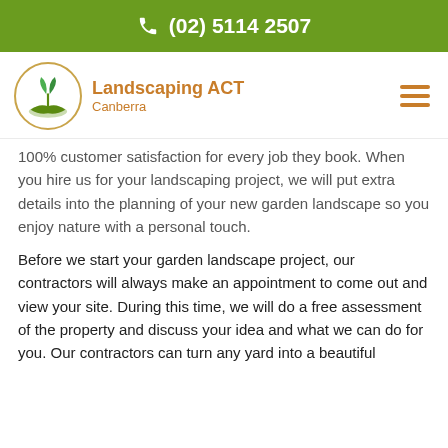(02) 5114 2507
Landscaping ACT Canberra
100% customer satisfaction for every job they book. When you hire us for your landscaping project, we will put extra details into the planning of your new garden landscape so you enjoy nature with a personal touch.
Before we start your garden landscape project, our contractors will always make an appointment to come out and view your site. During this time, we will do a free assessment of the property and discuss your idea and what we can do for you. Our contractors can turn any yard into a beautiful (continues...)